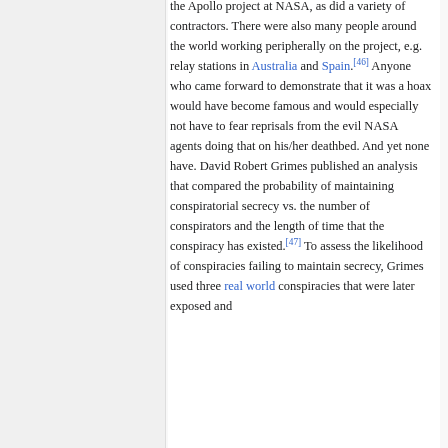the Apollo project at NASA, as did a variety of contractors. There were also many people around the world working peripherally on the project, e.g. relay stations in Australia and Spain.[46] Anyone who came forward to demonstrate that it was a hoax would have become famous and would especially not have to fear reprisals from the evil NASA agents doing that on his/her deathbed. And yet none have. David Robert Grimes published an analysis that compared the probability of maintaining conspiratorial secrecy vs. the number of conspirators and the length of time that the conspiracy has existed.[47] To assess the likelihood of conspiracies failing to maintain secrecy, Grimes used three real world conspiracies that were later exposed and